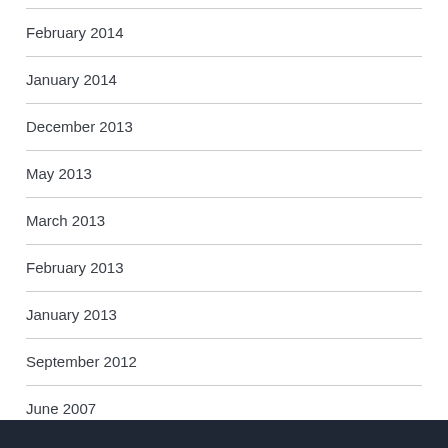February 2014
January 2014
December 2013
May 2013
March 2013
February 2013
January 2013
September 2012
June 2007